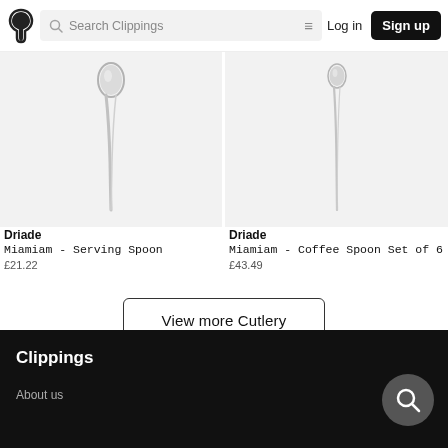Search Clippings | Log in | Sign up
[Figure (photo): Driade Miamiam Serving Spoon - silver cutlery on light grey background]
Driade
Miamiam - Serving Spoon
£21.22
[Figure (photo): Driade Miamiam Coffee Spoon Set of 6 - silver cutlery on light grey background]
Driade
Miamiam - Coffee Spoon Set of 6
£43.49
View more Cutlery
Clippings
About us